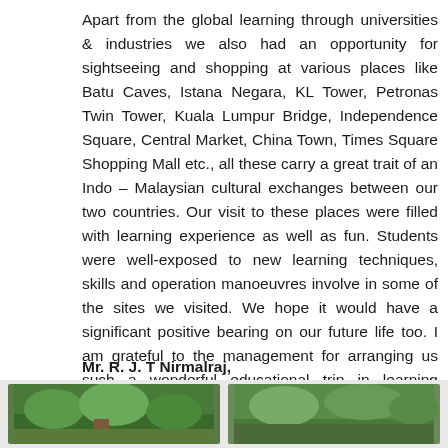Apart from the global learning through universities & industries we also had an opportunity for sightseeing and shopping at various places like Batu Caves, Istana Negara, KL Tower, Petronas Twin Tower, Kuala Lumpur Bridge, Independence Square, Central Market, China Town, Times Square Shopping Mall etc., all these carry a great trait of an Indo – Malaysian cultural exchanges between our two countries. Our visit to these places were filled with learning experience as well as fun. Students were well-exposed to new learning techniques, skills and operation manoeuvres involve in some of the sites we visited. We hope it would have a significant positive bearing on our future life too. I am grateful to the management for arranging us such a wonderful educational trip in learning business world.
Mr. R. J. T Nirmalraj,
Assistant Professor, SOM, HITS
[Figure (photo): Two photographs side by side at the bottom of the page showing outdoor scenes with greenery]